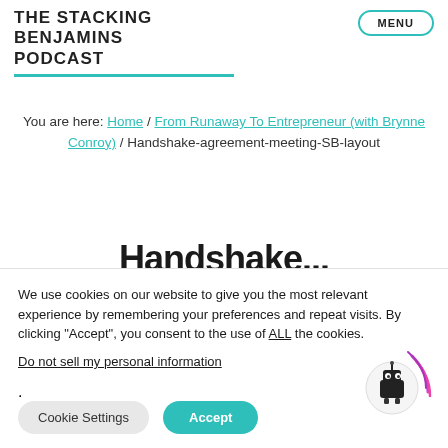THE STACKING BENJAMINS PODCAST
You are here: Home / From Runaway To Entrepreneur (with Brynne Conroy) / Handshake-agreement-meeting-SB-layout
Handshake...
We use cookies on our website to give you the most relevant experience by remembering your preferences and repeat visits. By clicking “Accept”, you consent to the use of ALL the cookies.
Do not sell my personal information.
Cookie Settings | Accept